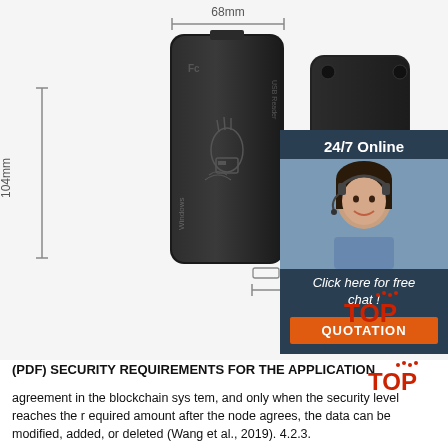[Figure (photo): Product photo of a black USB RFID card reader shown from front and back. Front view shows the device with FC logo, USB Reader text, Windows text, and a hand/card icon. Back view shows plain black surface with corner buttons. Dimension annotations show 68mm width, 104mm height, 10mm depth. A 24/7 Online live chat panel overlaps the right side showing a female customer service agent with headset, text 'Click here for free chat!' and an orange QUOTATION button.]
(PDF) SECURITY REQUIREMENTS FOR THE APPLICATION
agreement in the blockchain sys tem, and only when the security level reaches the r equired amount after the node agrees, the data can be modified, added, or deleted (Wang et al., 2019). 4.2.3.